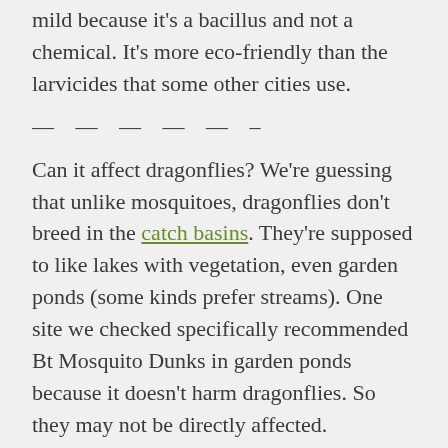mild because it's a bacillus and not a chemical. It's more eco-friendly than the larvicides that some other cities use.
— — — — — –
Can it affect dragonflies? We're guessing that unlike mosquitoes, dragonflies don't breed in the catch basins. They're supposed to like lakes with vegetation, even garden ponds (some kinds prefer streams). One site we checked specifically recommended Bt Mosquito Dunks in garden ponds because it doesn't harm dragonflies. So they may not be directly affected.
On the other hand, dragonflies eat mozzies